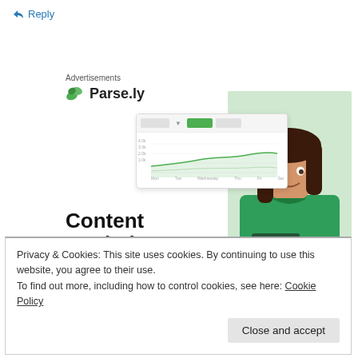↵ Reply
Advertisements
[Figure (screenshot): Parse.ly advertisement showing logo, dashboard mockup with a line chart, and a woman in a green sweater smiling]
Content Analytics Made Easy
Privacy & Cookies: This site uses cookies. By continuing to use this website, you agree to their use.
To find out more, including how to control cookies, see here: Cookie Policy
Close and accept
Ama49